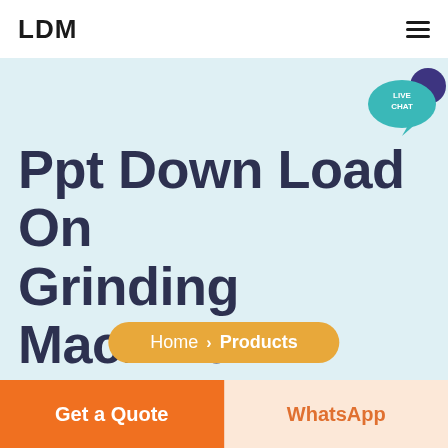LDM
[Figure (illustration): Live chat speech bubble icon with teal/blue background and 'LIVE CHAT' text]
Ppt Down Load On Grinding Machine
Home › Products
Get a Quote
WhatsApp